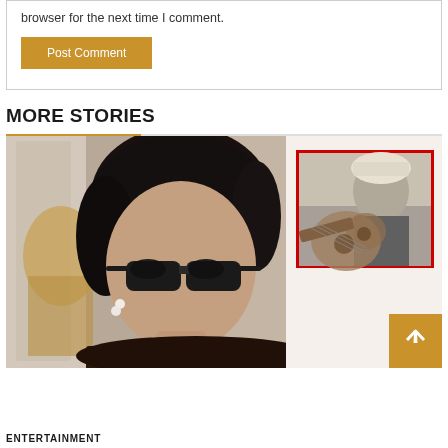browser for the next time I comment.
Post Comment
MORE STORIES
[Figure (photo): Main photo of a woman wearing dark cat-eye sunglasses and pearl necklace, with a smaller inset black-and-white photo of a man playing oud instrument, framed with a red border. A scroll-to-top arrow button appears in bottom right corner.]
ENTERTAINMENT